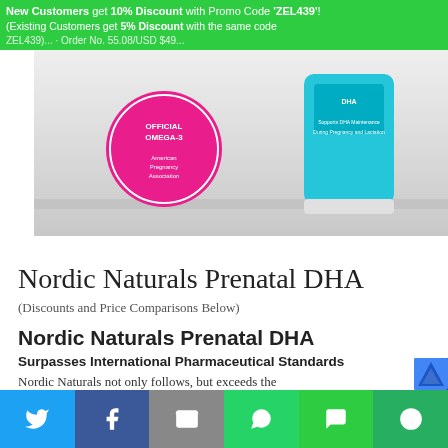New Customers get 10% Discount with Promo Code 'ZEL439'! (Existing Customers get 5% Discount with the same code ZEL439)...
[Figure (photo): Product photo of Nordic Naturals Prenatal DHA supplement bottle with pink Official Omega-3 American Pregnancy Association seal and teal DHA bottle]
Nordic Naturals Prenatal DHA
(Discounts and Price Comparisons Below)
Nordic Naturals Prenatal DHA
Surpasses International Pharmaceutical Standards
Nordic Naturals not only follows, but exceeds the
Share social buttons: Twitter, Facebook, Email, WhatsApp, SMS, More